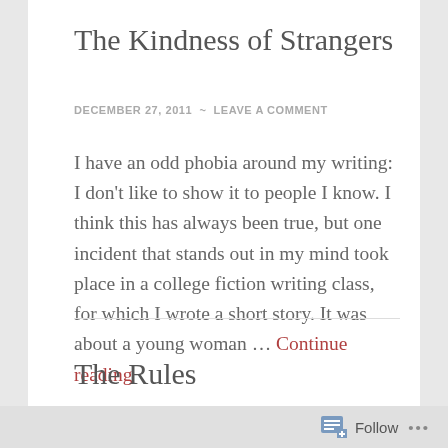The Kindness of Strangers
DECEMBER 27, 2011  ~  LEAVE A COMMENT
I have an odd phobia around my writing: I don't like to show it to people I know. I think this has always been true, but one incident that stands out in my mind took place in a college fiction writing class, for which I wrote a short story. It was about a young woman … Continue reading
The Rules